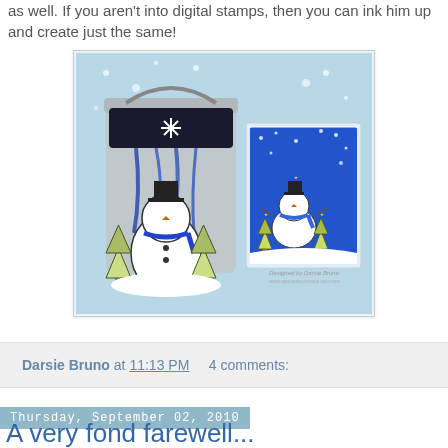as well. If you aren't into digital stamps, then you can ink him up and create just the same!
[Figure (photo): A decorated tin pail with a snowman design featuring blue ribbon and a matching handmade card with a snowman, Christmas trees, and snowflakes on a blue background. Text reads 'Designed by Darsie Bruno'.]
Darsie Bruno at 11:13 PM    4 comments:
Thursday, September 02, 2010
A very fond farewell...